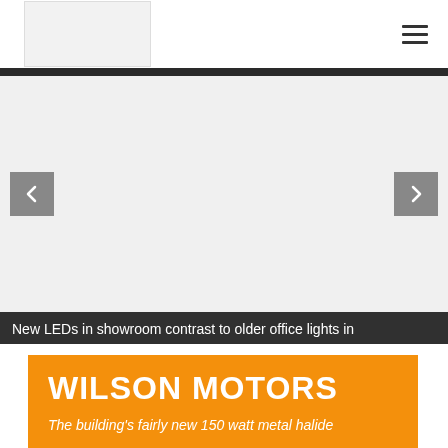Wilson Motors website header with logo placeholder and hamburger menu
[Figure (other): Website image carousel/slider with light gray background and left/right navigation arrow buttons]
New LEDs in showroom contrast to older office lights in
WILSON MOTORS
The building's fairly new 150 watt metal halide